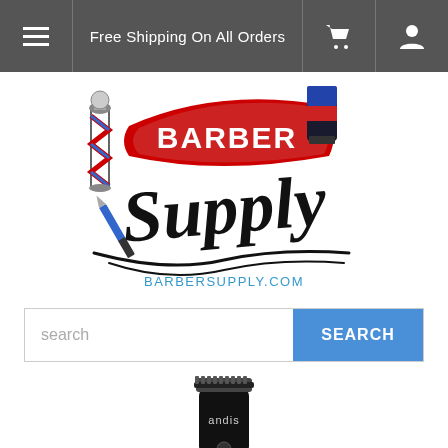Free Shipping On All Orders
[Figure (logo): Barber Supply logo with barber pole, hair clippers, straight razor, and stylized text reading 'BARBER Supply' with BARBERSUPPLY.COM below]
search
[Figure (photo): Andis hair trimmer/clipper product photo on white background, black body with blade at top]